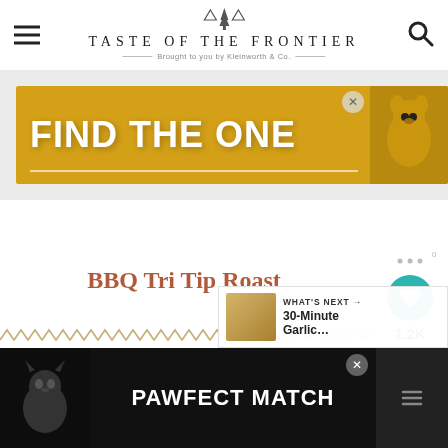TASTE OF THE FRONTIER — Brought to you by Kleinworth & Co.
[Figure (screenshot): Advertisement banner: yellow/gold background with text FIND THE ONE and a dog image on the right, with close X button]
BBQ Tri Tip Roast
[Figure (infographic): Social sharing sidebar with heart save button showing 1.2K saves and a share button]
[Figure (infographic): Zigzag decorative divider line in tan/gold color]
[Figure (screenshot): WHAT'S NEXT panel showing 30-Minute Garlic... with thumbnail]
[Figure (screenshot): Bottom advertisement banner: black background with PAWFECT MATCH text and cat image]